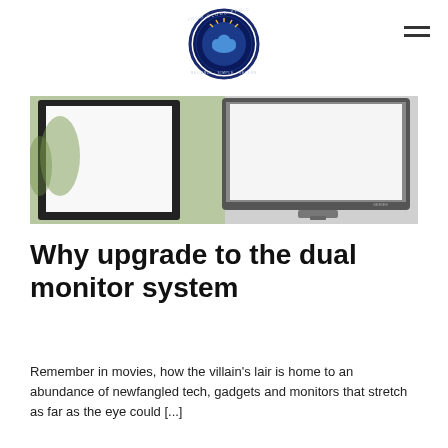[Figure (logo): Your Cloud Pro's circular logo with cloud icon and text 'RELIABLE · SIMPLE · SECURE']
[Figure (photo): Two computer monitors side by side — a black flat panel on the left showing a bright white screen, and a silver-framed monitor on the right also showing a white screen, with greenery visible in the background on the left side.]
Why upgrade to the dual monitor system
Remember in movies, how the villain's lair is home to an abundance of newfangled tech, gadgets and monitors that stretch as far as the eye could [...]